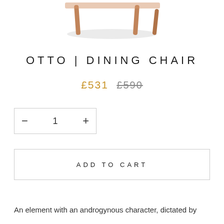[Figure (photo): Partial view of a wooden dining chair legs and seat bottom, cropped at the top of the page]
OTTO | DINING CHAIR
£531  £590
− 1 +
ADD TO CART
An element with an androgynous character, dictated by